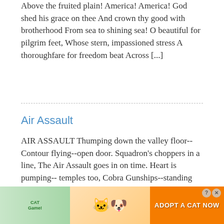Above the fruited plain! America! America! God shed his grace on thee And crown thy good with brotherhood From sea to shining sea! O beautiful for pilgrim feet, Whose stern, impassioned stress A thoroughfare for freedom beat Across [...]
Air Assault
AIR ASSAULT Thumping down the valley floor-- Contour flying--open door. Squadron's choppers in a line, The Air Assault goes in on time. Heart is pumping-- temples too, Cobra Gunships--standing to. Caribina locked in place, Try to hide my fearful face... rope... Rifle...
[Figure (other): Advertisement banner for 'Cat Game' mobile app showing cats and 'ADOPT A CAT NOW' call-to-action with close and question mark buttons]